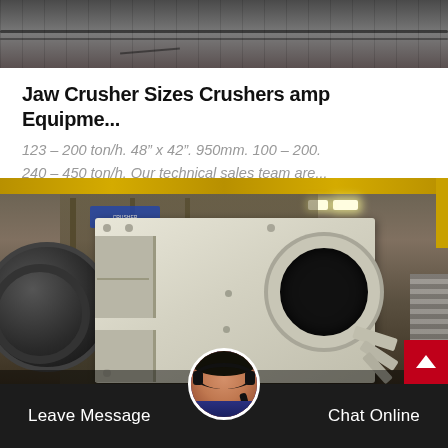[Figure (photo): Top partial industrial machinery/factory image, dark tones, mechanical cables visible]
Jaw Crusher Sizes Crushers amp Equipme...
123 – 200 ton/h. 48" x 42". 950mm. 100 – 200. 240 – 450 ton/h. Our technical sales team are...
[Figure (photo): Industrial factory interior showing a large jaw crusher machine (cream/off-white colored) with circular opening, ball mill on left, overhead crane rail in yellow, industrial lighting, stairs on right]
Leave Message
Chat Online